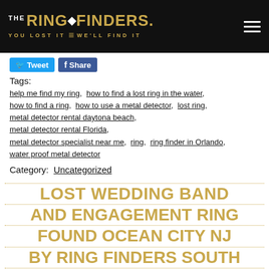THE RING FINDERS. YOU LOST IT WE'LL FIND IT
Tweet  Share
Tags:
help me find my ring,  how to find a lost ring in the water,  how to find a ring,  how to use a metal detector,  lost ring,  metal detector rental daytona beach,  metal detector rental Florida,  metal detector specialist near me,  ring,  ring finder in Orlando,  water proof metal detector
Category:  Uncategorized
LOST WEDDING BAND AND ENGAGEMENT RING FOUND OCEAN CITY NJ BY RING FINDERS SOUTH